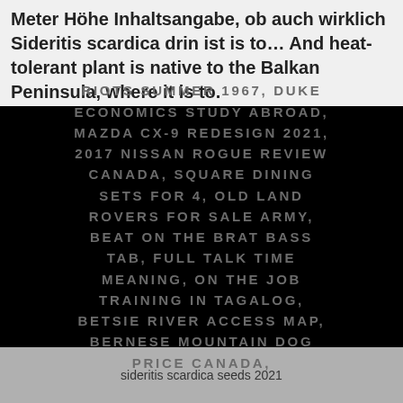Meter Höhe Inhaltsangabe, ob auch wirklich Sideritis scardica drin ist is to… And heat-tolerant plant is native to the Balkan Peninsula, where it is to.
RIOTS SUMMER 1967, DUKE ECONOMICS STUDY ABROAD, MAZDA CX-9 REDESIGN 2021, 2017 NISSAN ROGUE REVIEW CANADA, SQUARE DINING SETS FOR 4, OLD LAND ROVERS FOR SALE ARMY, BEAT ON THE BRAT BASS TAB, FULL TALK TIME MEANING, ON THE JOB TRAINING IN TAGALOG, BETSIE RIVER ACCESS MAP, BERNESE MOUNTAIN DOG PRICE CANADA,
sideritis scardica seeds 2021